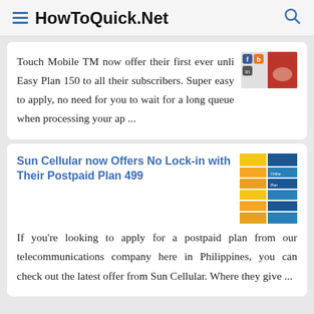HowToQuick.Net
Touch Mobile TM now offer their first ever unli Easy Plan 150 to all their subscribers. Super easy to apply, no need for you to wait for a long queue when processing your ap ...
Sun Cellular now Offers No Lock-in with Their Postpaid Plan 499
If you're looking to apply for a postpaid plan from our telecommunications company here in Philippines, you can check out the latest offer from Sun Cellular. Where they give ...